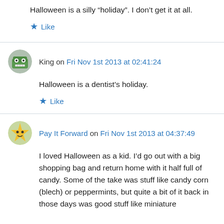Halloween is a silly “holiday”. I don’t get it at all.
★ Like
King on Fri Nov 1st 2013 at 02:41:24
Halloween is a dentist’s holiday.
★ Like
Pay It Forward on Fri Nov 1st 2013 at 04:37:49
I loved Halloween as a kid. I’d go out with a big shopping bag and return home with it half full of candy. Some of the take was stuff like candy corn (blech) or peppermints, but quite a bit of it back in those days was good stuff like miniature